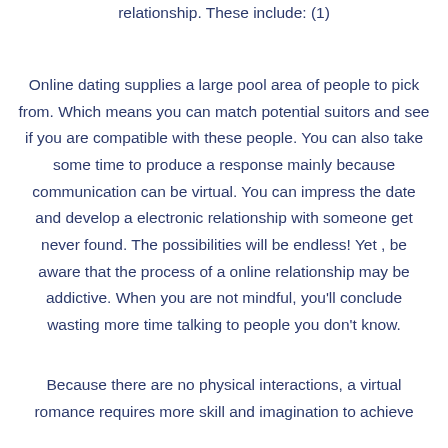relationship. These include: (1)
Online dating supplies a large pool area of people to pick from. Which means you can match potential suitors and see if you are compatible with these people. You can also take some time to produce a response mainly because communication can be virtual. You can impress the date and develop a electronic relationship with someone get never found. The possibilities will be endless! Yet , be aware that the process of a online relationship may be addictive. When you are not mindful, you'll conclude wasting more time talking to people you don't know.
Because there are no physical interactions, a virtual romance requires more skill and imagination to achieve